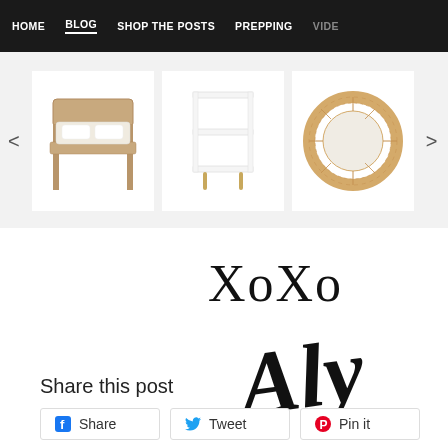HOME  BLOG  SHOP THE POSTS  PREPPING  VIDE
[Figure (screenshot): Product carousel showing three furniture items: a wooden bed frame, a white side table/shelf unit, and a round rattan mirror. Navigation arrows on each side.]
[Figure (illustration): Signature reading 'XoXo Aly' in stylized handwriting/script font]
Share this post
Share  Tweet  Pin it